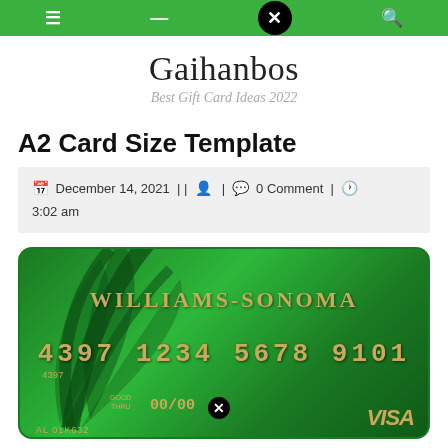Navigation bar with menu icons and close button
Gaihanbos
Best Gift Card Ideas 2022
A2 Card Size Template
December 14, 2021 | | [user icon] | [comment icon] 0 Comment | [clock icon] 3:02 am
[Figure (photo): Williams-Sonoma Visa gift card in green color with gold text showing card number 4397 1234 5678 9101, expiry 00/00, and VISA logo]